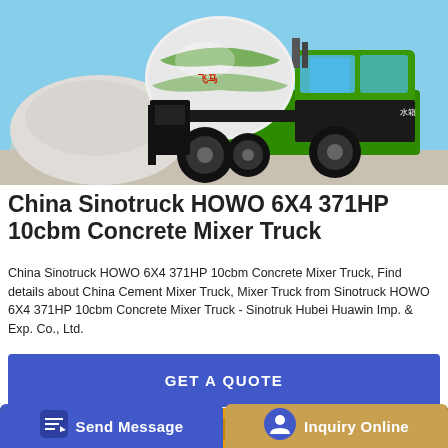[Figure (photo): Green and black Sinotruck HOWO 6X4 concrete mixer truck with rotating drum, photographed outdoors against a light background with gravel/aggregate pile visible.]
China Sinotruck HOWO 6X4 371HP 10cbm Concrete Mixer Truck
China Sinotruck HOWO 6X4 371HP 10cbm Concrete Mixer Truck, Find details about China Cement Mixer Truck, Mixer Truck from Sinotruck HOWO 6X4 371HP 10cbm Concrete Mixer Truck - Sinotruk Hubei Huawin Imp. & Exp. Co., Ltd.
GET A QUOTE
[Figure (photo): Partial bottom photo of yellow/orange heavy equipment machinery, partially obscured by the bottom navigation bar.]
Send Message
Inquiry Online